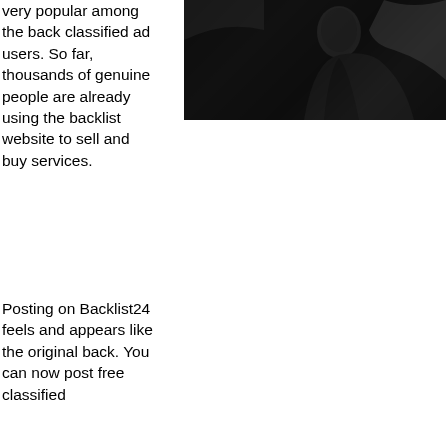very popular among the back classified ad users. So far, thousands of genuine people are already using the backlist website to sell and buy services.
[Figure (photo): Black and white photo of a person, appears to be a woman, dark background]
Posting on Backlist24 feels and appears like the original back. You can now post free classified